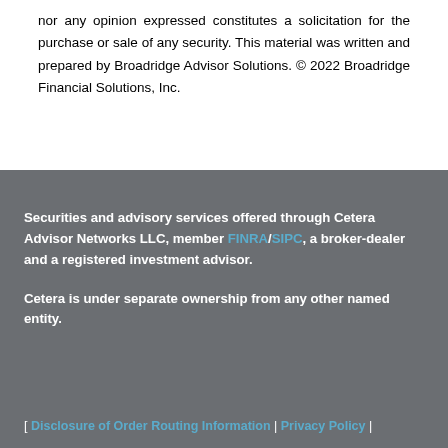nor any opinion expressed constitutes a solicitation for the purchase or sale of any security. This material was written and prepared by Broadridge Advisor Solutions. © 2022 Broadridge Financial Solutions, Inc.
Securities and advisory services offered through Cetera Advisor Networks LLC, member FINRA/SIPC, a broker-dealer and a registered investment advisor.
Cetera is under separate ownership from any other named entity.
[ Disclosure of Order Routing Information | Privacy Policy |